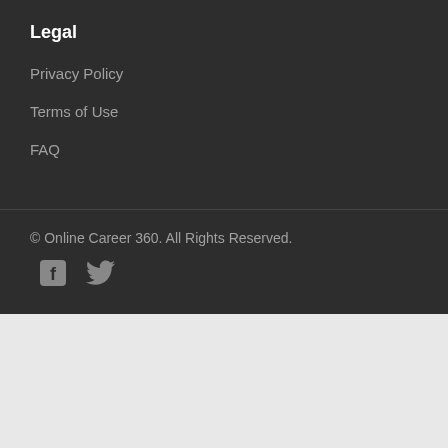Legal
Privacy Policy
Terms of Use
FAQ
© Online Career 360. All Rights Reserved.
[Figure (illustration): Facebook and Twitter social media icons in gray]